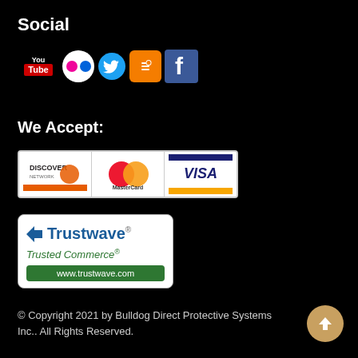Social
[Figure (logo): Social media icons: YouTube, Flickr, Twitter, Blogger, Facebook]
We Accept:
[Figure (logo): Payment method logos: Discover, MasterCard, Visa]
[Figure (logo): Trustwave Trusted Commerce badge with www.trustwave.com]
© Copyright 2021 by Bulldog Direct Protective Systems Inc.. All Rights Reserved.